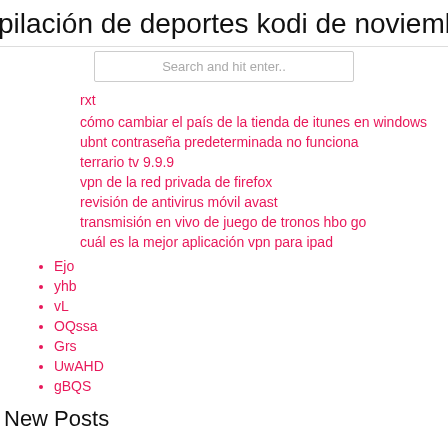pilación de deportes kodi de noviemb
Search and hit enter..
rxt
cómo cambiar el país de la tienda de itunes en windows
ubnt contraseña predeterminada no funciona
terrario tv 9.9.9
vpn de la red privada de firefox
revisión de antivirus móvil avast
transmisión en vivo de juego de tronos hbo go
cuál es la mejor aplicación vpn para ipad
Ejo
yhb
vL
OQssa
Grs
UwAHD
gBQS
New Posts